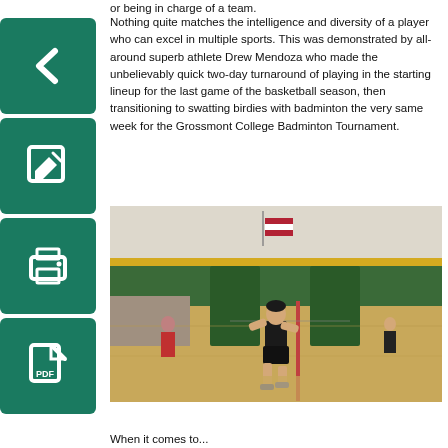or being in charge of a team.
Nothing quite matches the intelligence and diversity of a player who can excel in multiple sports. This was demonstrated by all-around superb athlete Drew Mendoza who made the unbelievably quick two-day turnaround of playing in the starting lineup for the last game of the basketball season, then transitioning to swatting birdies with badminton the very same week for the Grossmont College Badminton Tournament.
[Figure (photo): A female athlete playing badminton in a gymnasium with green and yellow walls. She is in a ready stance on the court. Other players and spectators are visible in the background, along with an American flag.]
When it comes to...